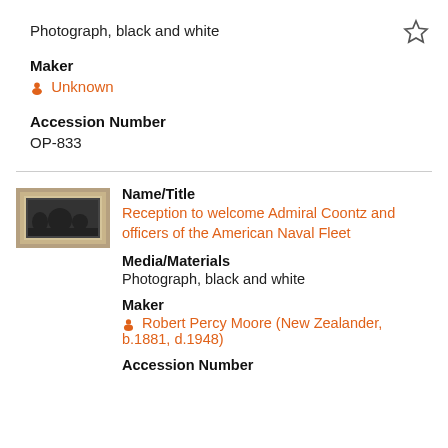Photograph, black and white
Maker
Unknown
Accession Number
OP-833
[Figure (photo): Thumbnail photograph showing a panoramic framed black and white image]
Name/Title
Reception to welcome Admiral Coontz and officers of the American Naval Fleet
Media/Materials
Photograph, black and white
Maker
Robert Percy Moore (New Zealander, b.1881, d.1948)
Accession Number